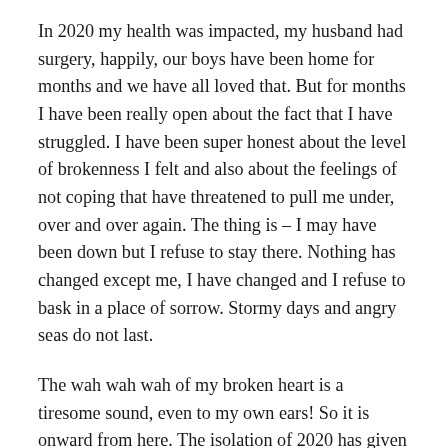In 2020 my health was impacted, my husband had surgery, happily, our boys have been home for months and we have all loved that. But for months I have been really open about the fact that I have struggled. I have been super honest about the level of brokenness I felt and also about the feelings of not coping that have threatened to pull me under, over and over again. The thing is – I may have been down but I refuse to stay there. Nothing has changed except me, I have changed and I refuse to bask in a place of sorrow. Stormy days and angry seas do not last.
The wah wah wah of my broken heart is a tiresome sound, even to my own ears! So it is onward from here. The isolation of 2020 has given me something most precious – and that something is time. That time has enabled me to once again take hold of the wispy threads of dreams that I have had, gather